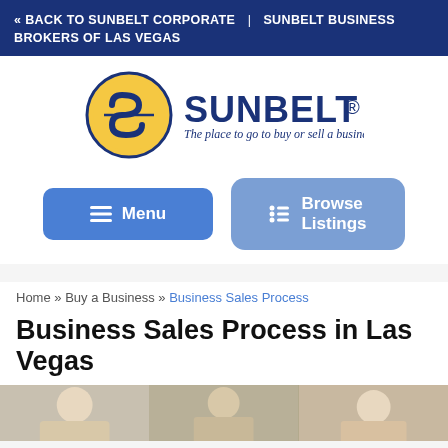« BACK TO SUNBELT CORPORATE | SUNBELT BUSINESS BROKERS OF LAS VEGAS
[Figure (logo): Sunbelt logo with circular S emblem and tagline 'The place to go to buy or sell a business.']
[Figure (screenshot): Menu button and Browse Listings button navigation interface]
Home » Buy a Business » Business Sales Process
Business Sales Process in Las Vegas
[Figure (photo): Partial photo strip showing people in a business setting]